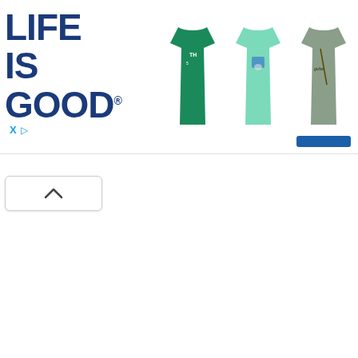[Figure (screenshot): Life Is Good brand advertisement banner showing the 'LIFE IS GOOD' logo in dark blue bold text on the left, followed by a horizontal row of 6 t-shirts in various colors (teal/dark green, mint green, gray-green, peach/salmon, sage green, navy blue long-sleeve), with an ad disclosure icon (X and play triangle in blue) in the lower left. A blue selection bar appears under the third shirt. Below the banner is a collapse/hide button with an upward chevron arrow.]